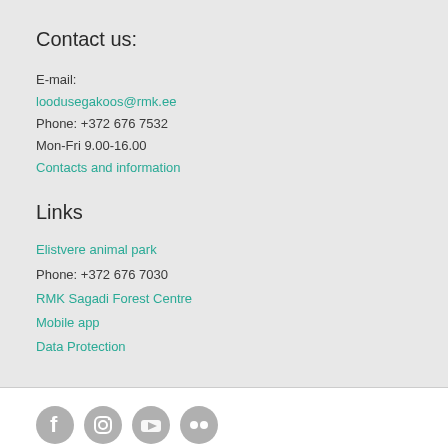Contact us:
E-mail:
loodusegakoos@rmk.ee
Phone: +372 676 7532
Mon-Fri 9.00-16.00
Contacts and information
Links
Elistvere animal park
Phone: +372 676 7030
RMK Sagadi Forest Centre
Mobile app
Data Protection
[Figure (illustration): Social media icons: Facebook, Instagram, YouTube, Flickr]
[Figure (logo): RMK logo with lightning bolt and text, plus a blue-yellow ribbon symbol]